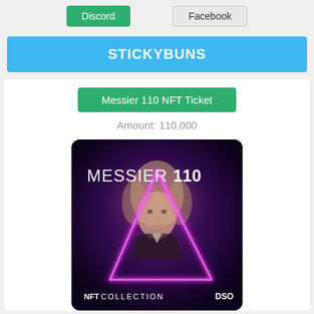Discord
Facebook
STICKYBUNS
Messier 110 NFT Ticket
Amount: 110,000
[Figure (illustration): Messier 110 NFT Collection artwork: dark purple/black background with a portrait of a historical figure overlaid with a glowing magenta/pink neon triangle. Text reads 'MESSIER 110' at the top in white, 'NFT COLLECTION' at the bottom left, and 'DSO' at the bottom right.]